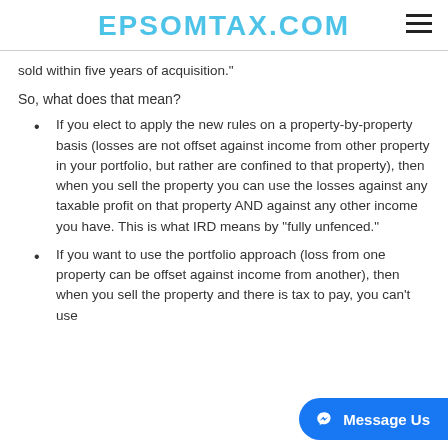EPSOMTAX.COM
sold within five years of acquisition."
So, what does that mean?
If you elect to apply the new rules on a property-by-property basis (losses are not offset against income from other property in your portfolio, but rather are confined to that property), then when you sell the property you can use the losses against any taxable profit on that property AND against any other income you have. This is what IRD means by "fully unfenced."
If you want to use the portfolio approach (loss from one property can be offset against income from another), then when you sell the property and there is tax to pay, you can't use